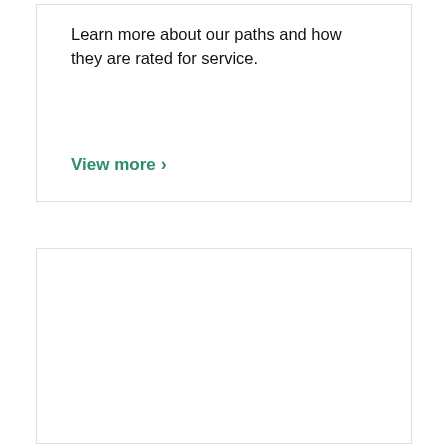Learn more about our paths and how they are rated for service.
View more ›